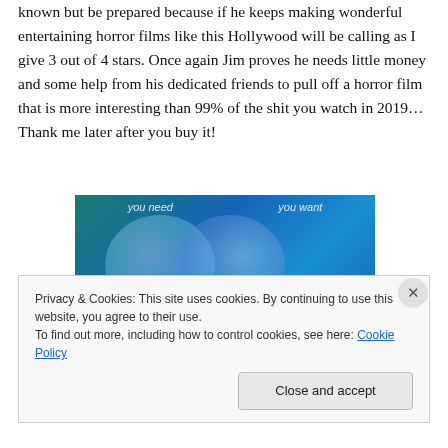known but be prepared because if he keeps making wonderful entertaining horror films like this Hollywood will be calling as I give 3 out of 4 stars. Once again Jim proves he needs little money and some help from his dedicated friends to pull off a horror film that is more interesting than 99% of the shit you watch in 2019… Thank me later after you buy it!
[Figure (illustration): Venn diagram style image with two overlapping circles on a blue-green gradient background. Text 'you need' on left and 'you want' on right visible at top.]
Privacy & Cookies: This site uses cookies. By continuing to use this website, you agree to their use.
To find out more, including how to control cookies, see here: Cookie Policy